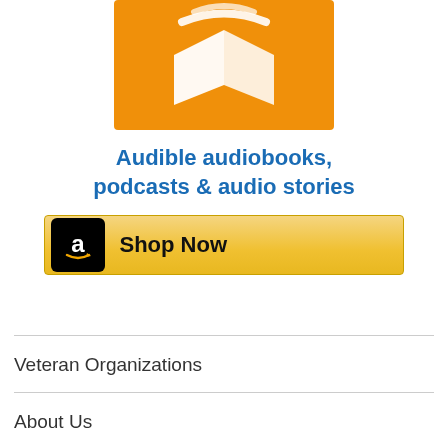[Figure (logo): Audible logo — orange square with white headphones/book icon]
Audible audiobooks, podcasts & audio stories
[Figure (screenshot): Amazon 'Shop Now' button with Amazon 'a' logo icon on gold gradient background]
Veteran Organizations
About Us